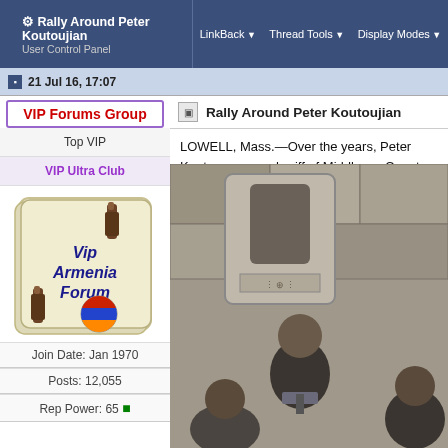Rally Around Peter Koutoujian | LinkBack | Thread Tools | Display Modes
User Control Panel
21 Jul 16, 17:07
VIP Forums Group
Top VIP
VIP Ultra Club
[Figure (illustration): VIP Armenia Forum logo card with wine bottles and Armenian flag globe]
Join Date: Jan 1970
Posts: 12,055
Rep Power: 65
Rally Around Peter Koutoujian
LOWELL, Mass.—Over the years, Peter Koutou now as sheriff of Middlesex County.
[Figure (photo): Photo of people standing in front of a stone building, with men in suits visible]